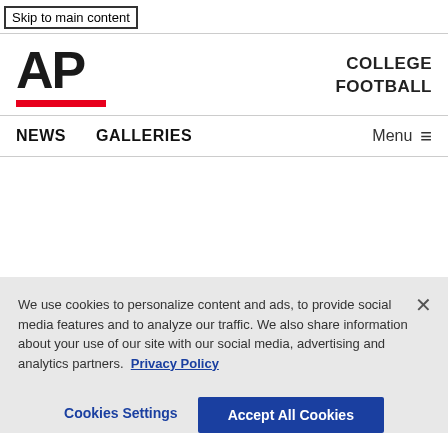Skip to main content
[Figure (logo): AP (Associated Press) logo in bold black text with red underline bar]
COLLEGE FOOTBALL
NEWS   GALLERIES   Menu
We use cookies to personalize content and ads, to provide social media features and to analyze our traffic. We also share information about your use of our site with our social media, advertising and analytics partners. Privacy Policy
Cookies Settings   Accept All Cookies